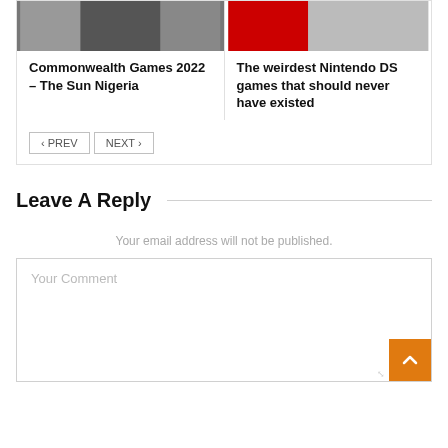[Figure (photo): Thumbnail image for Commonwealth Games 2022 article - dark/grey background]
[Figure (photo): Thumbnail image for Nintendo DS article - red and grey background]
Commonwealth Games 2022 – The Sun Nigeria
The weirdest Nintendo DS games that should never have existed
< PREV
NEXT >
Leave A Reply
Your email address will not be published.
Your Comment